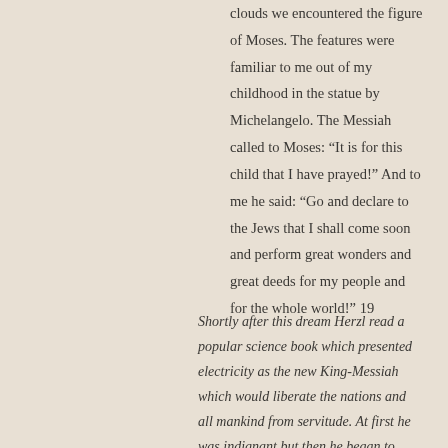clouds we encountered the figure of Moses. The features were familiar to me out of my childhood in the statue by Michelangelo. The Messiah called to Moses: “It is for this child that I have prayed!” And to me he said: “Go and declare to the Jews that I shall come soon and perform great wonders and great deeds for my people and for the whole world!” 19
Shortly after this dream Herzl read a popular science book which presented electricity as the new King-Messiah which would liberate the nations and all mankind from servitude. At first he was indignant but then he began to wonder if electricity might not be the promised redeemer and decided